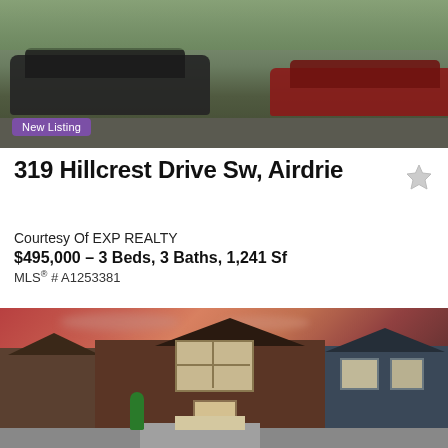[Figure (photo): Top photo showing parked cars in a lot or driveway area with greenery in the background. A 'New Listing' purple badge is overlaid on the bottom-left of the image.]
319 Hillcrest Drive Sw, Airdrie
Courtesy Of EXP REALTY
$495,000 – 3 Beds, 3 Baths, 1,241 Sf
MLS® # A1253381
[Figure (photo): Exterior photo of a two-storey residential home with dark brown and gray-blue siding, large front windows, dramatic red-orange sunset sky in the background, and neighbouring houses on both sides.]